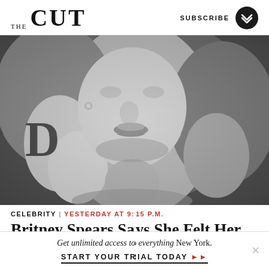THE CUT   SUBSCRIBE
[Figure (photo): Black and white close-up photo of a blonde woman (Britney Spears) with wavy hair, earrings, and bare shoulders at what appears to be a Grammy Awards event. The letter 'D' is partially visible in the background.]
CELEBRITY | YESTERDAY AT 9:15 P.M.
Britney Spears Says She Felt Her Family 'Threw
Get unlimited access to everything New York.
START YOUR TRIAL TODAY ▶▶